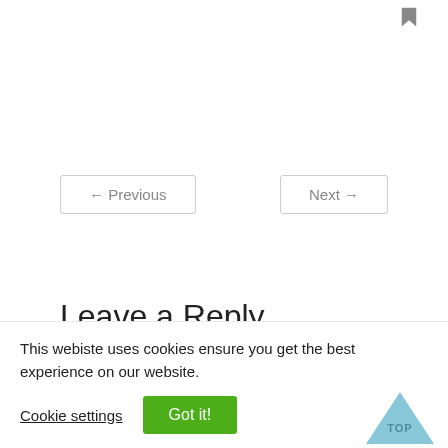[Figure (other): Bookmark icon in top right corner]
← Previous    Next →
Leave a Reply
Your email address will not be published. Required fields are marked *
This webiste uses cookies ensure you get the best experience on our website.
Cookie settings   Got it!